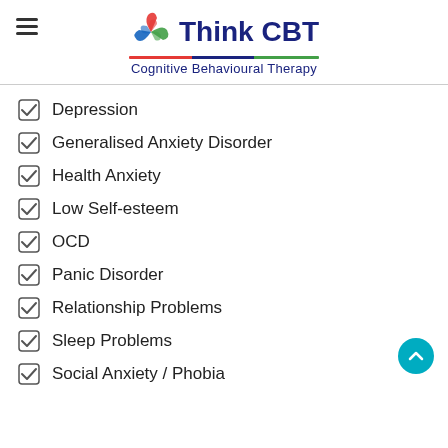[Figure (logo): Think CBT logo with spinning arrow icon, bold navy text 'Think CBT', tricolor underline, and subtitle 'Cognitive Behavioural Therapy']
Depression
Generalised Anxiety Disorder
Health Anxiety
Low Self-esteem
OCD
Panic Disorder
Relationship Problems
Sleep Problems
Social Anxiety / Phobia